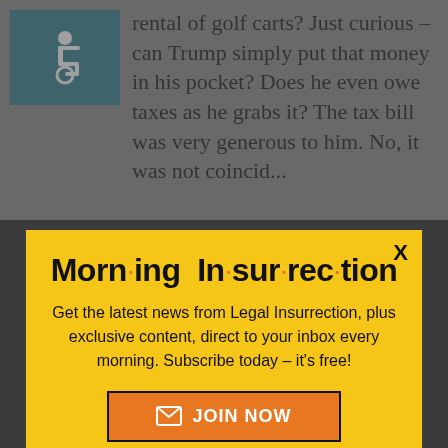rental of golf carts? Just curious – can Trump simply put that money in his pocket? Does he even owe taxes as he grabs it? The tax bill was very generous to him. No, it was not coincident...
[Figure (illustration): Wheelchair accessibility icon in white on teal background]
Morn·ing In·sur·rec·tion
Get the latest news from Legal Insurrection, plus exclusive content, direct to your inbox every morning. Subscribe today – it's free!
JOIN NOW
JohnSmith100 ... reply to
[Figure (logo): Fiverr logo with Start Now button]